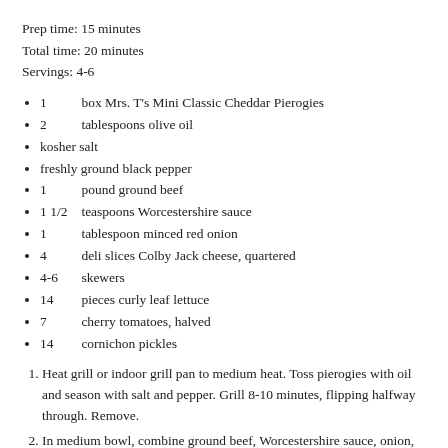Prep time: 15 minutes
Total time: 20 minutes
Servings: 4-6
1   box Mrs. T's Mini Classic Cheddar Pierogies
2   tablespoons olive oil
kosher salt
freshly ground black pepper
1   pound ground beef
1 1/2   teaspoons Worcestershire sauce
1   tablespoon minced red onion
4   deli slices Colby Jack cheese, quartered
4-6   skewers
14   pieces curly leaf lettuce
7   cherry tomatoes, halved
14   cornichon pickles
1. Heat grill or indoor grill pan to medium heat. Toss pierogies with oil and season with salt and pepper. Grill 8-10 minutes, flipping halfway through. Remove.
2. In medium bowl, combine ground beef, Worcestershire sauce, onion, salt and pepper. Form into 14 equal sized patties.